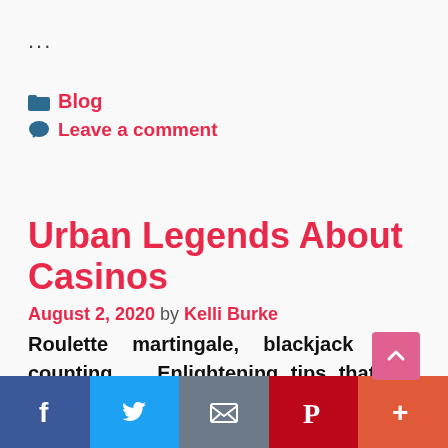...
Blog
Leave a comment
Urban Legends About Casinos
August 2, 2020 by Kelli Burke
Roulette martingale, blackjack card counting … Enlightening tips that will make you rich or fantasies of dreamy onlookers at the gates of